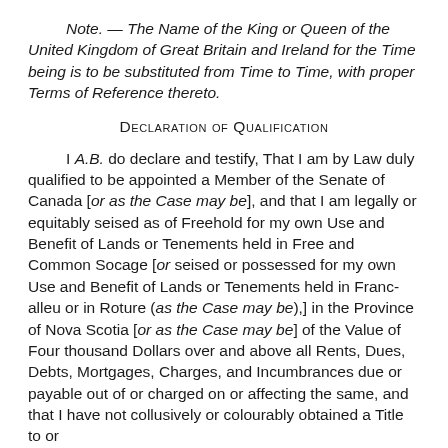Note. — The Name of the King or Queen of the United Kingdom of Great Britain and Ireland for the Time being is to be substituted from Time to Time, with proper Terms of Reference thereto.
Declaration of Qualification
I A.B. do declare and testify, That I am by Law duly qualified to be appointed a Member of the Senate of Canada [or as the Case may be], and that I am legally or equitably seised as of Freehold for my own Use and Benefit of Lands or Tenements held in Free and Common Socage [or seised or possessed for my own Use and Benefit of Lands or Tenements held in Franc-alleu or in Roture (as the Case may be),] in the Province of Nova Scotia [or as the Case may be] of the Value of Four thousand Dollars over and above all Rents, Dues, Debts, Mortgages, Charges, and Incumbrances due or payable out of or charged on or affecting the same, and that I have not collusively or colourably obtained a Title to or